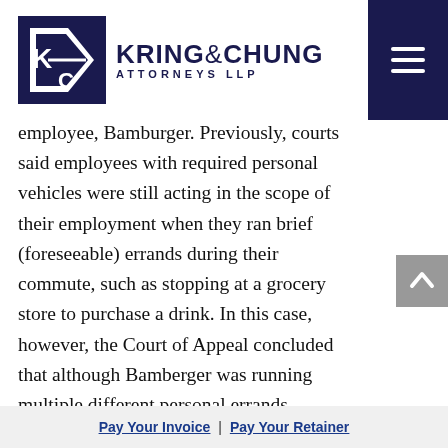Kring & Chung Attorneys LLP
employee, Bamburger. Previously, courts said employees with required personal vehicles were still acting in the scope of their employment when they ran brief (foreseeable) errands during their commute, such as stopping at a grocery store to purchase a drink. In this case, however, the Court of Appeal concluded that although Bamberger was running multiple different personal errands, including a yoga workout, her detours were not “so unusual or startling that it would seem unfair to include the loss
Pay Your Invoice | Pay Your Retainer